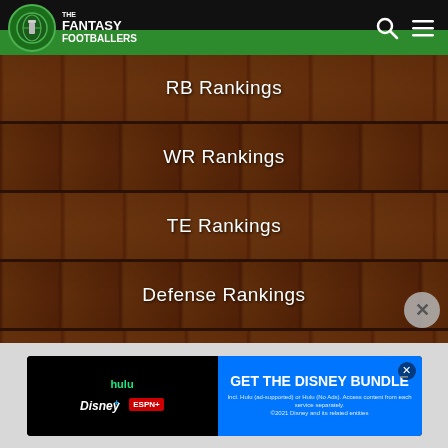The Fantasy Footballers
RB Rankings
WR Rankings
TE Rankings
Defense Rankings
Kicker Rankings
PREMIUM RANKINGS
Premium Projections
Flex Rankings
[Figure (screenshot): Advertisement banner for Disney Bundle featuring Hulu, Disney+, and ESPN+ logos with 'GET THE DISNEY BUNDLE' call-to-action button]